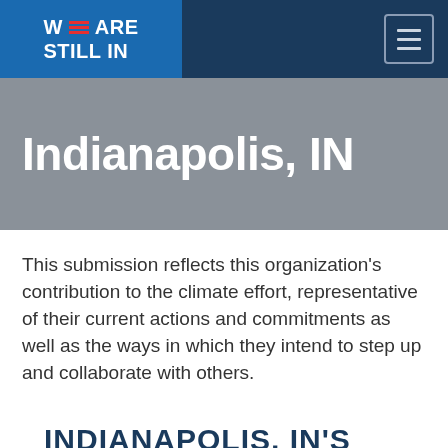WE ARE STILL IN
Indianapolis, IN
This submission reflects this organization's contribution to the climate effort, representative of their current actions and commitments as well as the ways in which they intend to step up and collaborate with others.
INDIANAPOLIS, IN'S CLIMATE